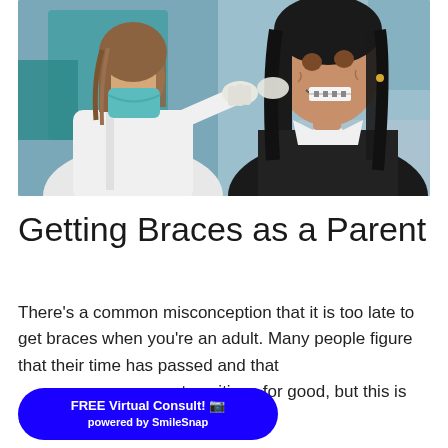[Figure (photo): A dentist in a white coat and teal surgical mask examining a smiling female patient who has braces. The dentist is working on the patient's mouth/jaw area. The patient is wearing a dark top and laughing. Dental office background with teal/blue-green equipment visible.]
Getting Braces as a Parent
There's a common misconception that it is too late to get braces when you're an adult. Many people figure that their time has passed and that their teeth have settled into permanent positions for good, but this is false. More and more adults are
[Figure (other): FREE Virtual Consult! [camera icon] powered by SmileSnap — a blue rounded rectangle CTA button overlaid on the body text]